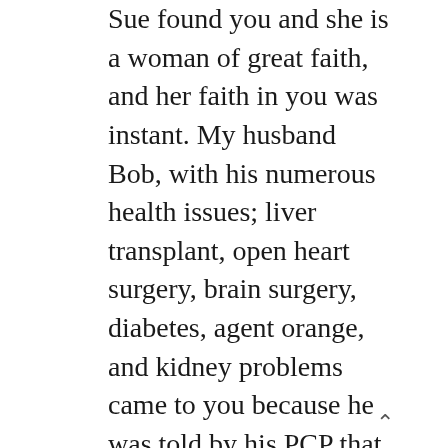Sue found you and she is a woman of great faith, and her faith in you was instant. My husband Bob, with his numerous health issues; liver transplant, open heart surgery, brain surgery, diabetes, agent orange, and kidney problems came to you because he was told by his PCP that his heart was too weak for him to survive another year. Well, this was in January and after following Mandi's knowledgeable advice, Bob's numbers have improved and the doctors have not been able to find fluid around his heart. And today Mandi, Bob had a test on his heart and he was told that his heart got stronger. We all say that Bob has nine lives and every surgery he comes through is a miracle, but you Mandi are truly a miracle worker. From the first time you met Bob you believed he could get better. I think